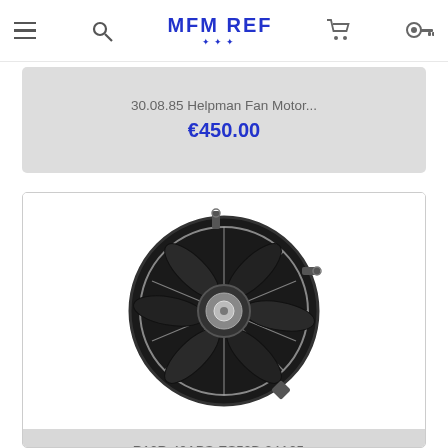MFM REF
30.08.85 Helpman Fan Motor...
€450.00
[Figure (photo): Industrial axial fan motor with black blades and wire guard/grille, viewed from the front, mounted with metal mounting brackets.]
R10R-40APS-ES50B-04A05...
€0.00